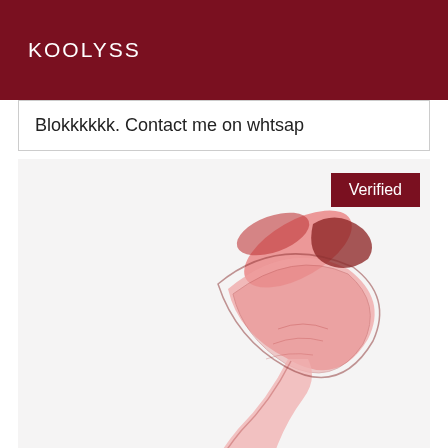KOOLYSS
Blokkkkkk. Contact me on whtsap
[Figure (illustration): An artistic illustration of a figure or anatomical form rendered in red and pink tones on a white background, with a 'Verified' badge in the top right corner.]